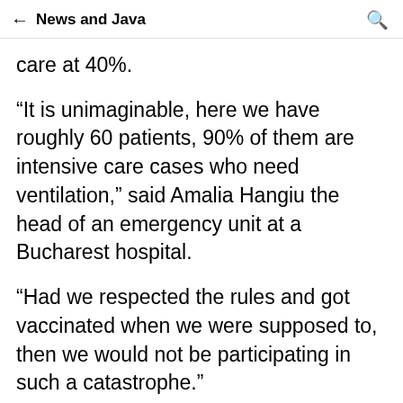← News and Java 🔍
care at 40%.
“It is unimaginable, here we have roughly 60 patients, 90% of them are intensive care cases who need ventilation,” said Amalia Hangiu the head of an emergency unit at a Bucharest hospital.
“Had we respected the rules and got vaccinated when we were supposed to, then we would not be participating in such a catastrophe.”